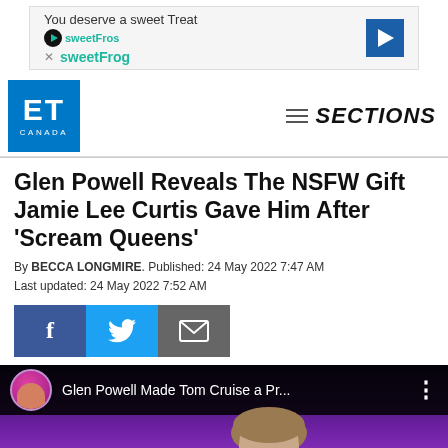[Figure (other): SweetFrog advertisement banner: 'You deserve a sweet Treat sweetFrog' with logo and arrow icon]
ET CANADA  ≡ SECTIONS
Glen Powell Reveals The NSFW Gift Jamie Lee Curtis Gave Him After 'Scream Queens'
By BECCA LONGMIRE. Published: 24 May 2022 7:47 AM
Last updated: 24 May 2022 7:52 AM
[Figure (other): Social share buttons: Facebook (f), Twitter (bird icon), Email (envelope icon)]
[Figure (other): Video thumbnail showing 'Glen Powell Made Tom Cruise a Pr...' with channel avatar and man's face on purple/dark background]